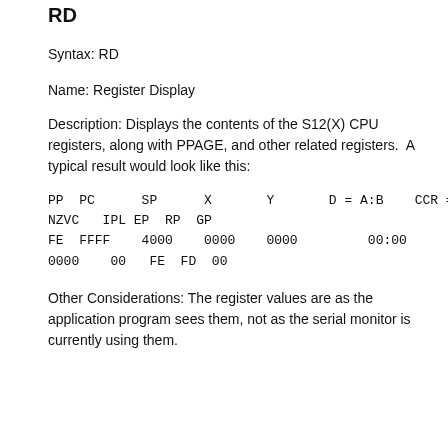RD
Syntax: RD
Name: Register Display
Description: Displays the contents of the S12(X) CPU registers, along with PPAGE, and other related registers.  A typical result would look like this:
PP  PC      SP      X       Y       D = A:B    CCR = SXHI
NZVC   IPL EP  RP  GP
FE  FFFF    4000    0000    0000         00:00              1101
0000    00   FE  FD  00
Other Considerations: The register values are as the application program sees them, not as the serial monitor is currently using them.